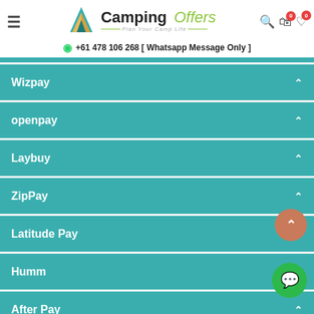Camping Offers — Plan Your Camp Life | +61 478 106 268 [ Whatsapp Message Only ]
Wizpay
openpay
Laybuy
ZipPay
Latitude Pay
Humm
After Pay